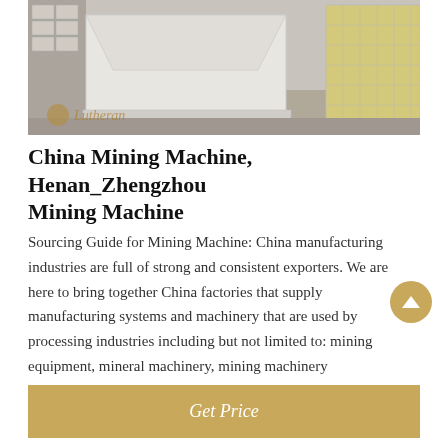[Figure (photo): Industrial mining machine (jaw crusher or similar heavy equipment) in white/grey metal, photographed in a warehouse or industrial floor. A 'Lutheran' watermark with circular logo is visible at the bottom left of the image.]
China Mining Machine, Henan_Zhengzhou Mining Machine
Sourcing Guide for Mining Machine: China manufacturing industries are full of strong and consistent exporters. We are here to bring together China factories that supply manufacturing systems and machinery that are used by processing industries including but not limited to: mining equipment, mineral machinery, mining machinery
Get Price